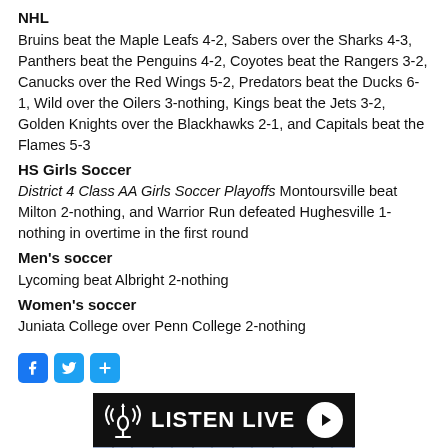NHL
Bruins beat the Maple Leafs 4-2, Sabers over the Sharks 4-3, Panthers beat the Penguins 4-2, Coyotes beat the Rangers 3-2, Canucks over the Red Wings 5-2, Predators beat the Ducks 6-1, Wild over the Oilers 3-nothing, Kings beat the Jets 3-2, Golden Knights over the Blackhawks 2-1, and Capitals beat the Flames 5-3
HS Girls Soccer
District 4 Class AA Girls Soccer Playoffs Montoursville beat Milton 2-nothing, and Warrior Run defeated Hughesville 1- nothing in overtime in the first round
Men's soccer
Lycoming beat Albright 2-nothing
Women's soccer
Juniata College over Penn College 2-nothing
[Figure (infographic): Social share buttons: Facebook (blue), Twitter (blue), and a blue plus/share button]
[Figure (screenshot): Listen Live banner with antenna icon and play button on dark background, with a brick wall image below]